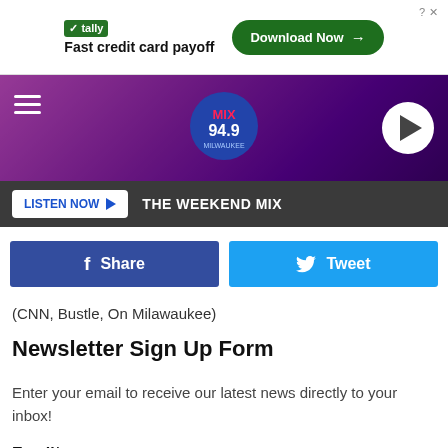[Figure (screenshot): Tally advertisement banner: 'Fast credit card payoff' with Download Now button]
[Figure (screenshot): MIX 94.9 radio station header banner with crowd and pink/purple lighting, hamburger menu, station logo, and play button]
LISTEN NOW  THE WEEKEND MIX
Share
Tweet
(CNN, Bustle, On Milawaukee)
Newsletter Sign Up Form
Enter your email to receive our latest news directly to your inbox!
Email*
Email*